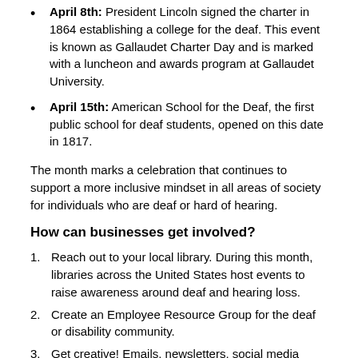April 8th: President Lincoln signed the charter in 1864 establishing a college for the deaf. This event is known as Gallaudet Charter Day and is marked with a luncheon and awards program at Gallaudet University.
April 15th: American School for the Deaf, the first public school for deaf students, opened on this date in 1817.
The month marks a celebration that continues to support a more inclusive mindset in all areas of society for individuals who are deaf or hard of hearing.
How can businesses get involved?
Reach out to your local library. During this month, libraries across the United States host events to raise awareness around deaf and hearing loss.
Create an Employee Resource Group for the deaf or disability community.
Get creative! Emails, newsletters, social media channels, infographics with facts and figures etc. can be used to